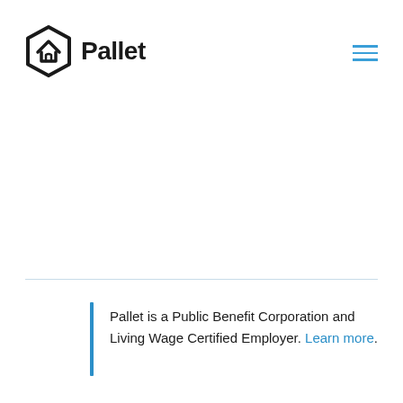[Figure (logo): Pallet logo: hexagon icon with house outline followed by bold text 'Pallet']
[Figure (other): Hamburger menu icon with three horizontal blue lines]
Pallet is a Public Benefit Corporation and Living Wage Certified Employer. Learn more.